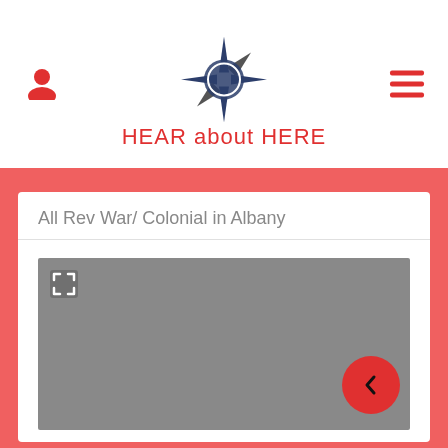[Figure (logo): Compass rose logo with dark blue circle and arrow points]
HEAR about HERE
All Rev War/ Colonial in Albany
[Figure (screenshot): Gray map area with expand icon in top-left and red back navigation button in bottom-right]